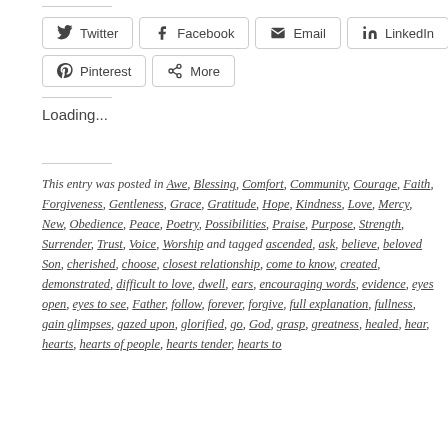Twitter
Facebook
Email
LinkedIn
Pinterest
More
Loading...
This entry was posted in Awe, Blessing, Comfort, Community, Courage, Faith, Forgiveness, Gentleness, Grace, Gratitude, Hope, Kindness, Love, Mercy, New, Obedience, Peace, Poetry, Possibilities, Praise, Purpose, Strength, Surrender, Trust, Voice, Worship and tagged ascended, ask, believe, beloved Son, cherished, choose, closest relationship, come to know, created, demonstrated, difficult to love, dwell, ears, encouraging words, evidence, eyes open, eyes to see, Father, follow, forever, forgive, full explanation, fullness, gain glimpses, gazed upon, glorified, go, God, grasp, greatness, healed, hear, hearts, hearts of people, hearts tender, hearts to